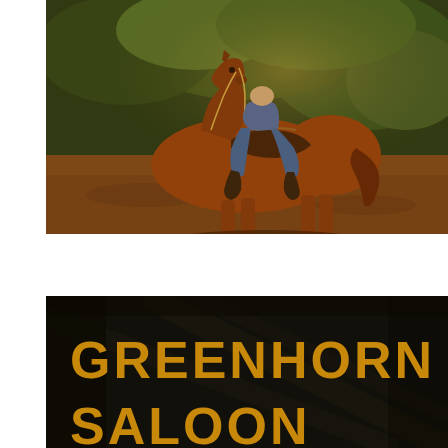[Figure (photo): A person riding a chestnut/reddish-brown horse on a dirt trail. The rider is wearing jeans and boots and sitting on a dark leather saddle. The background shows green shrubs and trees with warm golden light. The ground is reddish-brown dirt and gravel.]
[Figure (photo): A dark background sign showing the text 'GREENHORN SALOON' in large bold golden/yellow letters. The letters appear raised or embossed on a dark brown/black surface.]